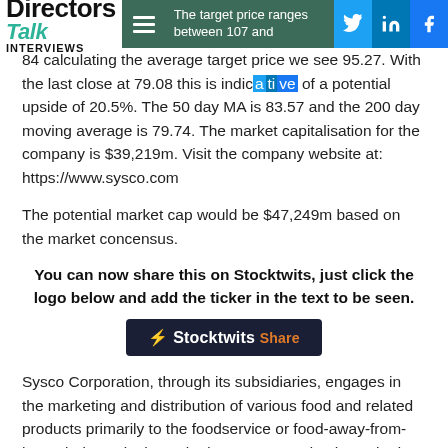Directors Talk Interviews | The target price ranges between 107 and 84 calculating the average target price we see 95.27.
The target price ranges between 107 and 84 calculating the average target price we see 95.27. With the last close at 79.08 this is indicative of a potential upside of 20.5%. The 50 day MA is 83.57 and the 200 day moving average is 79.74. The market capitalisation for the company is $39,219m. Visit the company website at: https://www.sysco.com
The potential market cap would be $47,249m based on the market concensus.
You can now share this on Stocktwits, just click the logo below and add the ticker in the text to be seen.
[Figure (logo): Stocktwits Share button — dark navy background with lightning bolt logo, white text 'Stocktwits' and orange text 'Share']
Sysco Corporation, through its subsidiaries, engages in the marketing and distribution of various food and related products primarily to the foodservice or food-away-from-home industry in the United States, Canada, the United Kingdom, France, and internationally. It operates through